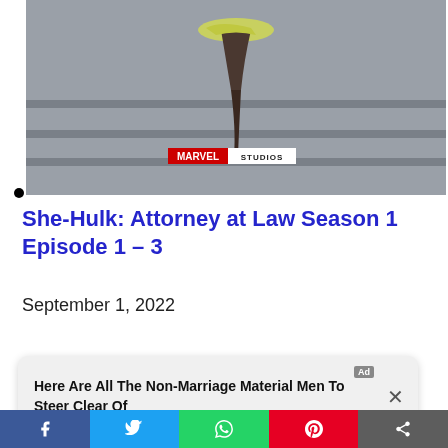[Figure (photo): Marvel Studios promotional image showing a high-heel stiletto shoe on steps, with Marvel Studios logo overlay]
She-Hulk: Attorney at Law Season 1 Episode 1 – 3
September 1, 2022
[Figure (photo): Group of people / characters from a show, standing together]
Here Are All The Non-Marriage Material Men To Steer Clear Of
Facebook Twitter WhatsApp Pinterest Share social bar